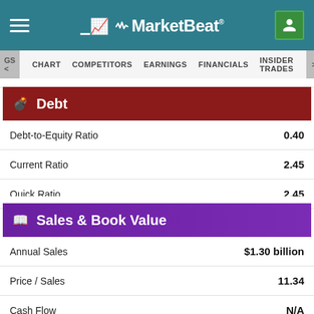MarketBeat
GS < CHART   COMPETITORS   EARNINGS   FINANCIALS   INSIDER TRADES   >NST
Debt
|  |  |
| --- | --- |
| Debt-to-Equity Ratio | 0.40 |
| Current Ratio | 2.45 |
| Quick Ratio | 2.45 |
Sales & Book Value
|  |  |
| --- | --- |
| Annual Sales | $1.30 billion |
| Price / Sales | 11.34 |
| Cash Flow | N/A |
| Price / Cash Flow | N/A |
| Book Value | $37.81 per share |
| Price / Book | 2.47 |